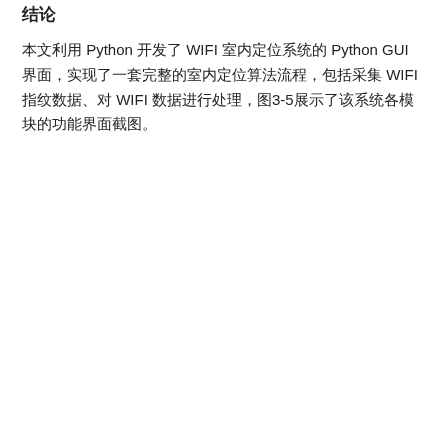结论
本文利用 Python 开发了 WIFI 室内定位系统的 Python GUI 界面，实现了一套完整的室内定位算法流程，包括采集 WIFI 指纹数据、对 WIFI 数据进行处理，图3-5展示了该系统各模块的功能界面截图。